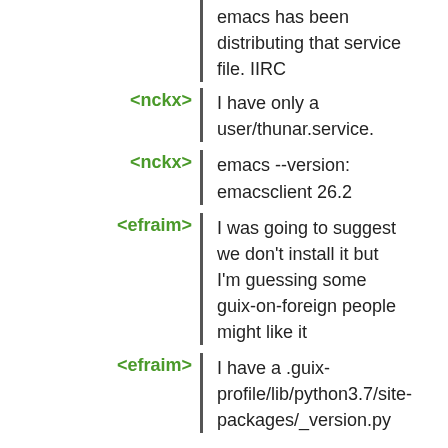emacs has been distributing that service file. IIRC
<nckx> I have only a user/thunar.service.
<nckx> emacs --version: emacsclient 26.2
<efraim> I was going to suggest we don't install it but I'm guessing some guix-on-foreign people might like it
<efraim> I have a .guix-profile/lib/python3.7/site-packages/_version.py